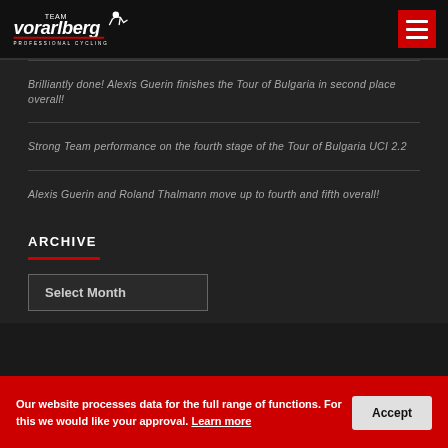[Figure (logo): Team Vorarlberg Professional Cycling logo — white stylized text on black background with cyclist icon]
Brilliantly done! Alexis Guerin finishes the Tour of Bulgaria in second place overall!
Strong Team performance on the fourth stage of the Tour of Bulgaria UCI 2.2
Alexis Guerin and Roland Thalmann move up to fourth and fifth overall!
ARCHIVE
Select Month
Our website processes data for the full range of functions. For this we would like your approval. Learn more   Accept